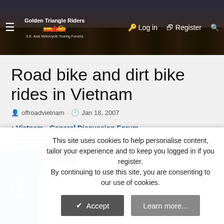[Figure (screenshot): Golden Triangle Riders website header banner with crowd photo, navigation bar showing hamburger menu, logo, Log in and Register links, and search icon]
Road bike and dirt bike rides in Vietnam
offroadvietnam · Jan 18, 2007
< Vietnam - General Discussion Forum
offroadvietnam
Member
This site uses cookies to help personalise content, tailor your experience and to keep you logged in if you register.
By continuing to use this site, you are consenting to our use of cookies.
Accept
Learn more...